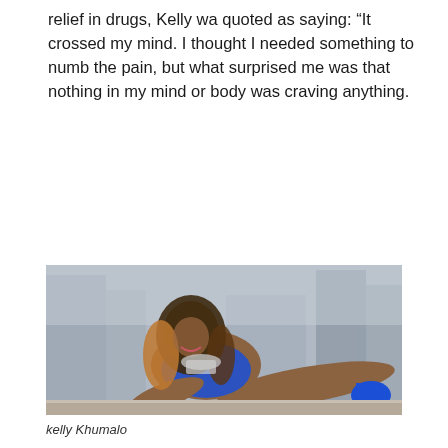relief in drugs, Kelly wa quoted as saying: “It crossed my mind. I thought I needed something to numb the pain, but what surprised me was that nothing in my mind or body was craving anything.
[Figure (photo): Kelly Khumalo posing in a blue bikini outfit with silver statement necklace and bracelets, reclining on a ledge with a blurred urban building background. She has long wavy ombre hair and blue high heels.]
kelly Khumalo